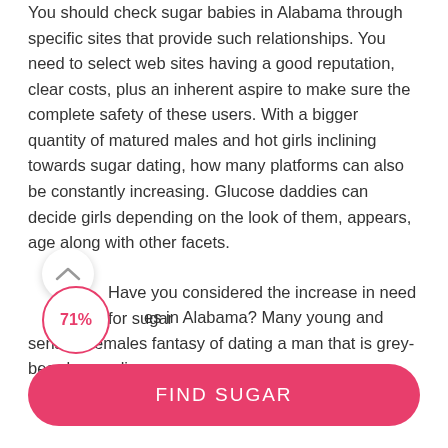You should check sugar babies in Alabama through specific sites that provide such relationships. You need to select web sites having a good reputation, clear costs, plus an inherent aspire to make sure the complete safety of these users. With a bigger quantity of matured males and hot girls inclining towards sugar dating, how many platforms can also be constantly increasing. Glucose daddies can decide girls depending on the look of them, appears, age along with other facets.
Have you considered the increase in need for sugar babies in Alabama? Many young and sensual females fantasy of dating a man that is grey-beard appealing
[Figure (infographic): A scroll-up chevron indicator button (circle with up arrow) and a circular progress badge showing 71% in pink/red color.]